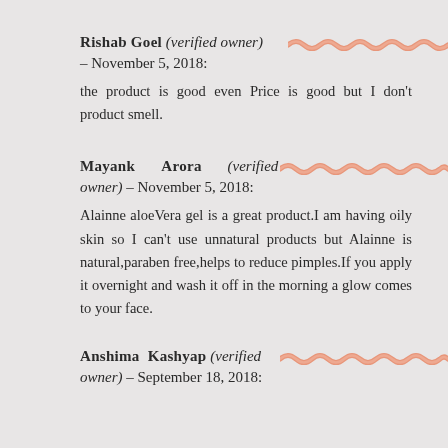Rishab Goel (verified owner) – November 5, 2018: the product is good even Price is good but I don't product smell.
Mayank Arora (verified owner) – November 5, 2018: Alainne aloeVera gel is a great product.I am having oily skin so I can't use unnatural products but Alainne is natural,paraben free,helps to reduce pimples.If you apply it overnight and wash it off in the morning a glow comes to your face.
Anshima Kashyap (verified owner) – September 18, 2018: